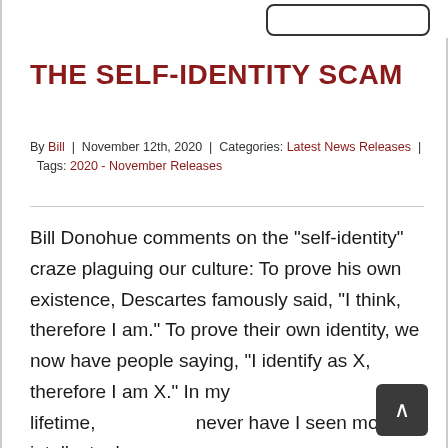[Figure (screenshot): Top browser bar area with rounded rectangle search/address bar element]
THE SELF-IDENTITY SCAM
By Bill | November 12th, 2020 | Categories: Latest News Releases | Tags: 2020 - November Releases
Bill Donohue comments on the "self-identity" craze plaguing our culture: To prove his own existence, Descartes famously said, "I think, therefore I am." To prove their own identity, we now have people saying, "I identify as X, therefore I am X." In my lifetime, never have I seen more intellectual